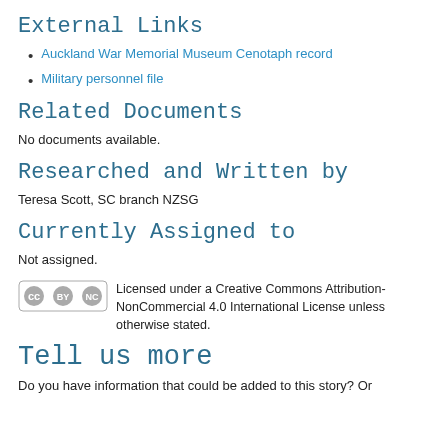External Links
Auckland War Memorial Museum Cenotaph record
Military personnel file
Related Documents
No documents available.
Researched and Written by
Teresa Scott, SC branch NZSG
Currently Assigned to
Not assigned.
Licensed under a Creative Commons Attribution-NonCommercial 4.0 International License unless otherwise stated.
Tell us more
Do you have information that could be added to this story? Or